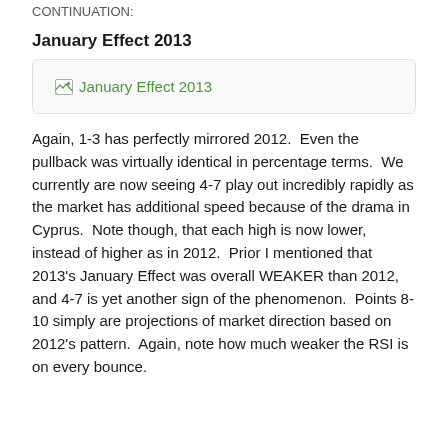CONTINUATION:
January Effect 2013
[Figure (other): Broken image placeholder for 'January Effect 2013' chart]
Again, 1-3 has perfectly mirrored 2012.  Even the pullback was virtually identical in percentage terms.  We currently are now seeing 4-7 play out incredibly rapidly as the market has additional speed because of the drama in Cyprus.  Note though, that each high is now lower, instead of higher as in 2012.  Prior I mentioned that 2013’s January Effect was overall WEAKER than 2012, and 4-7 is yet another sign of the phenomenon.  Points 8-10 simply are projections of market direction based on 2012’s pattern.  Again, note how much weaker the RSI is on every bounce.